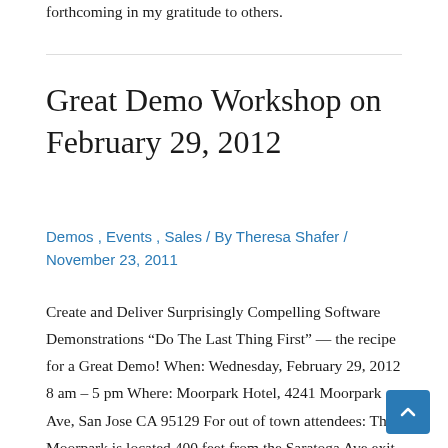forthcoming in my gratitude to others.
Great Demo Workshop on February 29, 2012
Demos , Events , Sales / By Theresa Shafer / November 23, 2011
Create and Deliver Surprisingly Compelling Software Demonstrations “Do The Last Thing First” — the recipe for a Great Demo! When: Wednesday, February 29, 2012 8 am – 5 pm Where: Moorpark Hotel, 4241 Moorpark Ave, San Jose CA 95129 For out of town attendees: The Moorpark is located 400 feet from the Saratoga Ave exit …